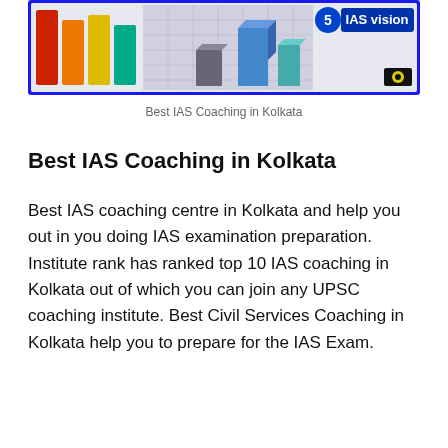[Figure (illustration): Banner image for IAS Vision showing colorful 3D bar chart shapes and the text '5 IAS vision' with a logo, surrounded by a blue border.]
Best IAS Coaching in Kolkata
Best IAS Coaching in Kolkata
Best IAS coaching centre in Kolkata and help you out in you doing IAS examination preparation. Institute rank has ranked top 10 IAS coaching in Kolkata out of which you can join any UPSC coaching institute. Best Civil Services Coaching in Kolkata help you to prepare for the IAS Exam.